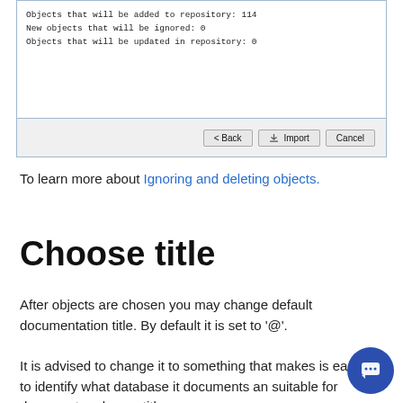[Figure (screenshot): Dialog box showing import summary: 'Objects that will be added to repository: 114', 'New objects that will be ignored: 0', 'Objects that will be updated in repository: 0', with Back, Import, and Cancel buttons at the bottom.]
To learn more about Ignoring and deleting objects.
Choose title
After objects are chosen you may change default documentation title. By default it is set to '@'.
It is advised to change it to something that makes is easy to identify what database it documents and suitable for document and page title.